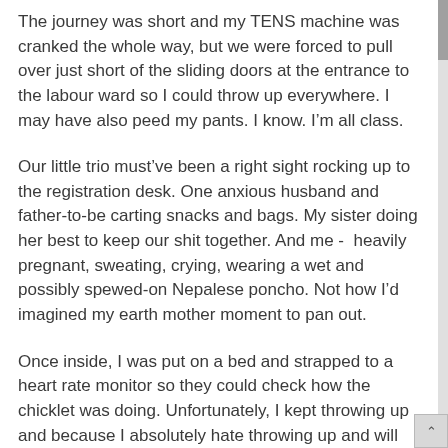The journey was short and my TENS machine was cranked the whole way, but we were forced to pull over just short of the sliding doors at the entrance to the labour ward so I could throw up everywhere. I may have also peed my pants. I know. I'm all class.
Our little trio must've been a right sight rocking up to the registration desk. One anxious husband and father-to-be carting snacks and bags. My sister doing her best to keep our shit together. And me -  heavily pregnant, sweating, crying, wearing a wet and possibly spewed-on Nepalese poncho. Not how I'd imagined my earth mother moment to pan out.
Once inside, I was put on a bed and strapped to a heart rate monitor so they could check how the chicklet was doing. Unfortunately, I kept throwing up and because I absolutely hate throwing up and will avoid it whenever possible, this lack of control was messing with my head.